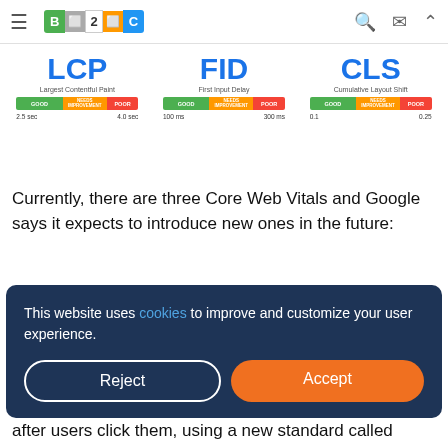B2C website header with navigation icons
[Figure (infographic): Core Web Vitals diagram showing three metrics: LCP (Largest Contentful Paint) with good/needs improvement/poor bar and thresholds 2.5 sec / 4.0 sec; FID (First Input Delay) with thresholds 100 ms / 300 ms; CLS (Cumulative Layout Shift) with thresholds 0.1 / 0.25]
Currently, there are three Core Web Vitals and Google says it expects to introduce new ones in the future:
1. Loading: This simply refers to loading times although
This website uses cookies to improve and customize your user experience.
after users click them, using a new standard called